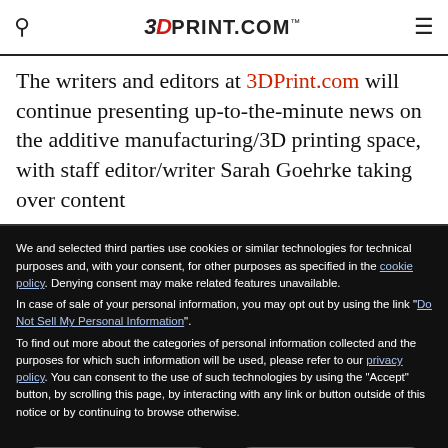3DPrint.com
The writers and editors at 3DPrint.com will continue presenting up-to-the-minute news on the additive manufacturing/3D printing space, with staff editor/writer Sarah Goehrke taking over content
We and selected third parties use cookies or similar technologies for technical purposes and, with your consent, for other purposes as specified in the cookie policy. Denying consent may make related features unavailable.
In case of sale of your personal information, you may opt out by using the link "Do Not Sell My Personal Information".
To find out more about the categories of personal information collected and the purposes for which such information will be used, please refer to our privacy policy.
You can consent to the use of such technologies by using the "Accept" button, by scrolling this page, by interacting with any link or button outside of this notice or by continuing to browse otherwise.
Reject
Accept
Learn more and customize